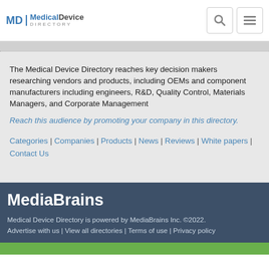[Figure (logo): MD Medical Device Directory logo with search and menu icons in header]
The Medical Device Directory reaches key decision makers researching vendors and products, including OEMs and component manufacturers including engineers, R&D, Quality Control, Materials Managers, and Corporate Management
Reach this audience by promoting your company in this directory.
Categories | Companies | Products | News | Reviews | White papers | Contact Us
MediaBrains
Medical Device Directory is powered by MediaBrains Inc. ©2022. Advertise with us | View all directories | Terms of use | Privacy policy